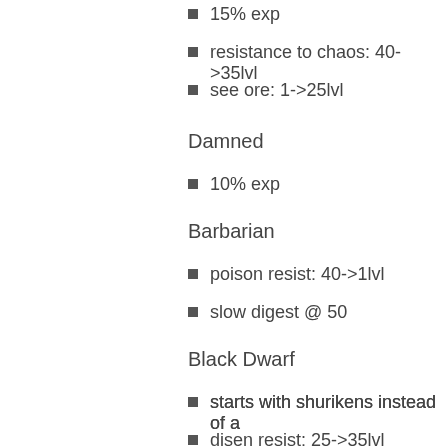15% exp
resistance to chaos: 40->35lvl
see ore: 1->25lvl
Damned
10% exp
Barbarian
poison resist: 40->1lvl
slow digest @ 50
Black Dwarf
starts with shurikens instead of a
disen resist: 25->35lvl
Goblin